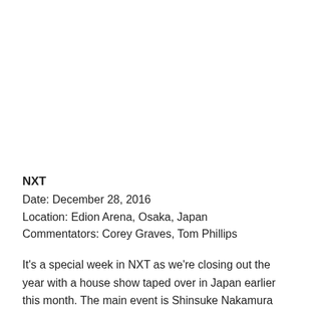NXT
Date: December 28, 2016
Location: Edion Arena, Osaka, Japan
Commentators: Corey Graves, Tom Phillips
It's a special week in NXT as we're closing out the year with a house show taped over in Japan earlier this month. The main event is Shinsuke Nakamura challenging Samoa Joe for the title in a match we saw a few weeks back. This is always a good house experience though, so it...